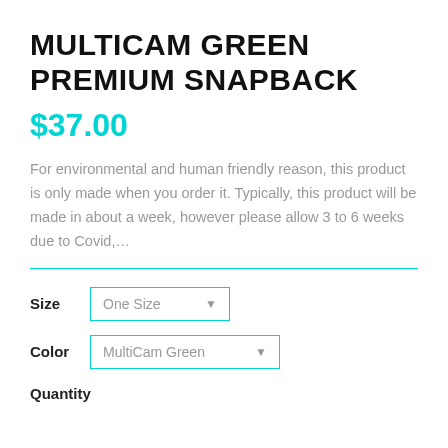MULTICAM GREEN PREMIUM SNAPBACK
$37.00
For environmental and human friendly reason, this product is only made when you order it. Typically, this product will be made in about a week, however please allow 3 to 6 weeks due to Covid,…
Size  One Size
Color  MultiCam Green
Quantity